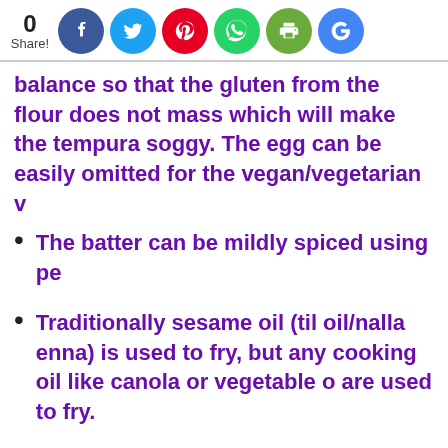0 Share! [social share icons: Facebook, Twitter, Pinterest, WhatsApp, Print, Google]
balance so that the gluten from the flour does not mass which will make the tempura soggy. The egg can be easily omitted for the vegan/vegetarian v
The batter can be mildly spiced using pe
Traditionally sesame oil (til oil/nalla enna) is used to fry, but any cooking oil like canola or vegetable o are used to fry.
Almost all vegetables like okra, green be sweet potato,onion, broccoli,egg plant ,b of tempuras . Mushro
Follow [Facebook icon] [Twitter icon]